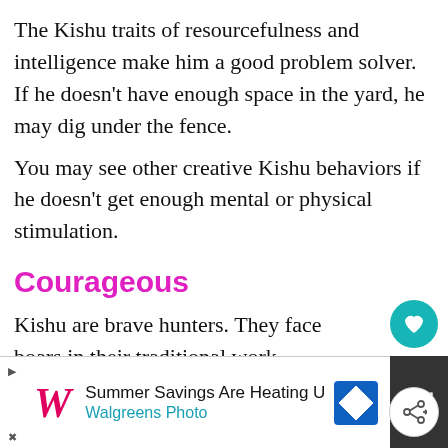The Kishu traits of resourcefulness and intelligence make him a good problem solver. If he doesn't have enough space in the yard, he may dig under the fence.
You may see other creative Kishu behaviors if he doesn't get enough mental or physical stimulation.
Courageous
Kishu are brave hunters. They face boars in their traditional work.
[Figure (screenshot): What's Next box with dog image thumbnail, label 'WHAT'S NEXT →', title 'Portuguese Podengo...']
[Figure (infographic): Sidebar widget with teal heart button showing like count 2, and a share button below]
[Figure (screenshot): Advertisement bar for Walgreens Photo: 'Summer Savings Are Heating U', with Walgreens W logo, blue diamond icon, and dark block on right with dots icon]